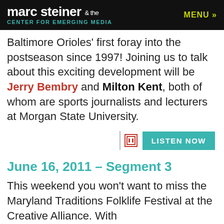marc steiner & the CENTER FOR EMERGING MEDIA   MENU »
Baltimore Orioles' first foray into the postseason since 1997! Joining us to talk about this exciting development will be Jerry Bembry and Milton Kent, both of whom are sports journalists and lecturers at Morgan State University.
June 16, 2011 – Segment 3
This weekend you won't want to miss the Maryland Traditions Folklife Festival at the Creative Alliance.  With